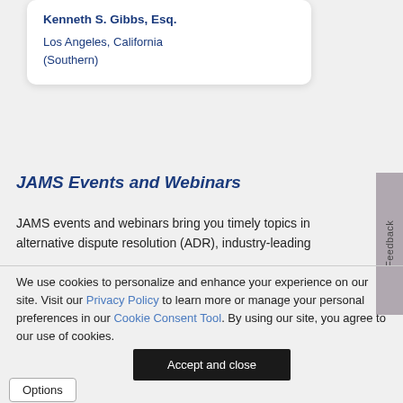Kenneth S. Gibbs, Esq.
Los Angeles, California
(Southern)
JAMS Events and Webinars
JAMS events and webinars bring you timely topics in alternative dispute resolution (ADR), industry-leading
We use cookies to personalize and enhance your experience on our site. Visit our Privacy Policy to learn more or manage your personal preferences in our Cookie Consent Tool. By using our site, you agree to our use of cookies.
Accept and close
Options